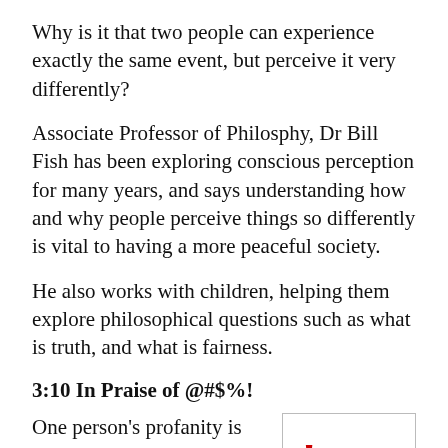Why is it that two people can experience exactly the same event, but perceive it very differently?
Associate Professor of Philosphy, Dr Bill Fish has been exploring conscious perception for many years, and says understanding how and why people perceive things so differently is vital to having a more peaceful society.
He also works with children, helping them explore philosophical questions such as what is truth, and what is fairness.
3:10 In Praise of @#$%!
One person's profanity is another's prose.  US Republican presidential candidate Donald
[Figure (logo): Logo for 'In Praise of @#$%!' featuring stylized text with red exclamation mark, red @ symbol replacing 'a', bold black letters, on white background with border.]